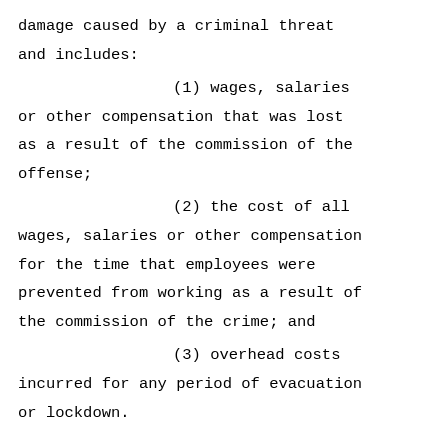damage caused by a criminal threat and includes: (1) wages, salaries or other compensation that was lost as a result of the commission of the offense; (2) the cost of all wages, salaries or other compensation for the time that employees were prevented from working as a result of the commission of the crime; and (3) overhead costs incurred for any period of evacuation or lockdown.